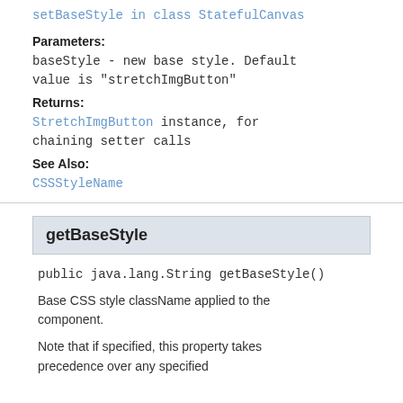setBaseStyle in class StatefulCanvas
Parameters:
baseStyle - new base style. Default value is "stretchImgButton"
Returns:
StretchImgButton instance, for chaining setter calls
See Also:
CSSStyleName
getBaseStyle
public java.lang.String getBaseStyle()
Base CSS style className applied to the component.
Note that if specified, this property takes precedence over any specified